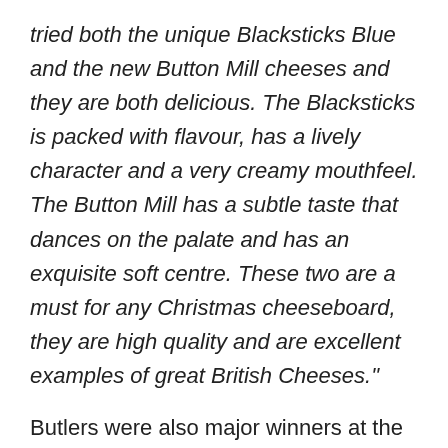tried both the unique Blacksticks Blue and the new Button Mill cheeses and they are both delicious. The Blacksticks is packed with flavour, has a lively character and a very creamy mouthfeel. The Button Mill has a subtle taste that dances on the palate and has an exquisite soft centre. These two are a must for any Christmas cheeseboard, they are high quality and are excellent examples of great British Cheeses."
Butlers were also major winners at the recent British Cheese Awards, achieving their best ever results and receiving a medal for every variety of their Farmhouse cheese. Winning 14 awards